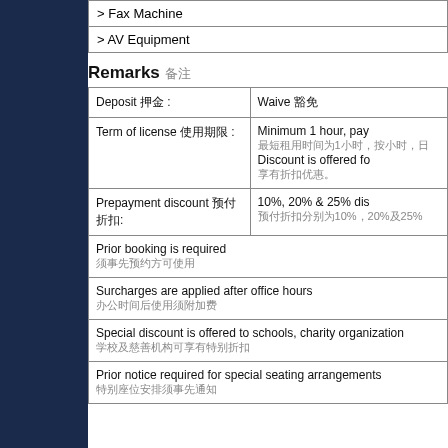> Fax Machine
> AV Equipment
Remarks 备注
| Deposit 押金 : | Waive 豁免 |
| --- | --- |
| Term of license 使用期限 : | Minimum 1 hour, pay...
最短租用时间为1小时，按...
Discount is offered fo...
享有折扣优惠。 |
| Prepayment discount 预付折扣: | 10%, 20% & 25% dis...
预付... |
| Prior booking is required
须事先预约 |  |
| Surcharges are applied after office hours
办公时间以外需附加费 |  |
| Special discount is offered to schools, charity organization...
学校、慈善机构可享有特别折扣 |  |
| Prior notice required for special seating arrangements
特别座位安排须事先通知 |  |